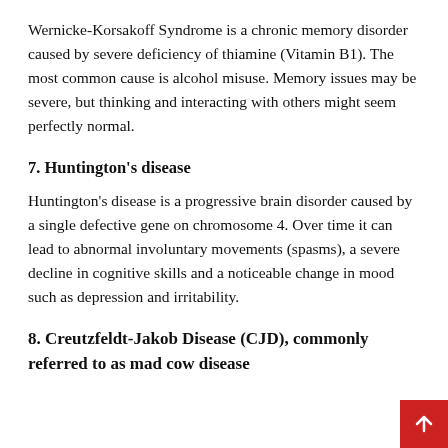Wernicke-Korsakoff Syndrome is a chronic memory disorder caused by severe deficiency of thiamine (Vitamin B1). The most common cause is alcohol misuse. Memory issues may be severe, but thinking and interacting with others might seem perfectly normal.
7. Huntington's disease
Huntington's disease is a progressive brain disorder caused by a single defective gene on chromosome 4. Over time it can lead to abnormal involuntary movements (spasms), a severe decline in cognitive skills and a noticeable change in mood such as depression and irritability.
8. Creutzfeldt-Jakob Disease (CJD), commonly referred to as mad cow disease